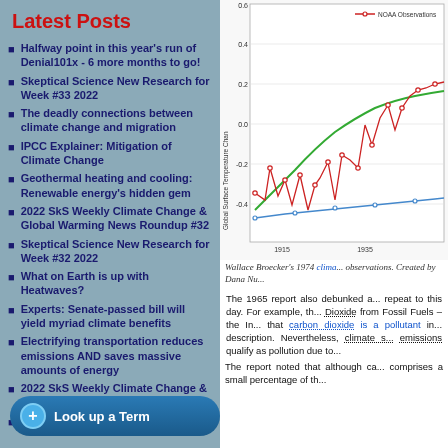Latest Posts
Halfway point in this year's run of Denial101x - 6 more months to go!
Skeptical Science New Research for Week #33 2022
The deadly connections between climate change and migration
IPCC Explainer: Mitigation of Climate Change
Geothermal heating and cooling: Renewable energy's hidden gem
2022 SkS Weekly Climate Change & Global Warming News Roundup #32
Skeptical Science New Research for Week #32 2022
What on Earth is up with Heatwaves?
Experts: Senate-passed bill will yield myriad climate benefits
Electrifying transportation reduces emissions AND saves massive amounts of energy
2022 SkS Weekly Climate Change & Global Warming News Roundup #31
A…
[Figure (continuous-plot): Wallace Broecker's 1974 climate prediction vs NOAA Observations. Line chart showing global surface temperature change from 1915 to ~1950, with green curve (Broecker 1974 prediction), red line with markers (NOAA Observations), and blue line. Y-axis: Global Surface Temperature Change (-0.4 to 0.6). X-axis: 1915, 1935.]
Wallace Broecker's 1974 clima... observations. Created by Dana Nu...
The 1965 report also debunked a... repeat to this day. For example, th... Dioxide from Fossil Fuels – the In... that carbon dioxide is a pollutant in... description. Nevertheless, climate s... emissions qualify as pollution due to...
The report noted that although ca... comprises a small percentage of th...